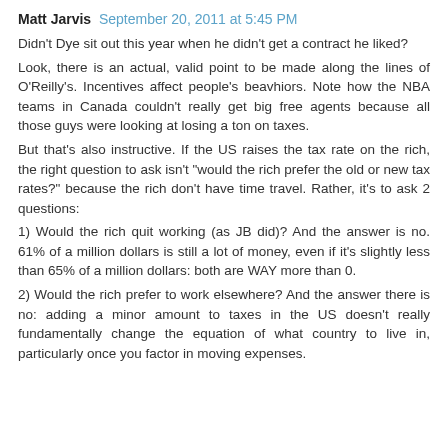Matt Jarvis  September 20, 2011 at 5:45 PM
Didn't Dye sit out this year when he didn't get a contract he liked?
Look, there is an actual, valid point to be made along the lines of O'Reilly's. Incentives affect people's beavhiors. Note how the NBA teams in Canada couldn't really get big free agents because all those guys were looking at losing a ton on taxes.
But that's also instructive. If the US raises the tax rate on the rich, the right question to ask isn't "would the rich prefer the old or new tax rates?" because the rich don't have time travel. Rather, it's to ask 2 questions:
1) Would the rich quit working (as JB did)? And the answer is no. 61% of a million dollars is still a lot of money, even if it's slightly less than 65% of a million dollars: both are WAY more than 0.
2) Would the rich prefer to work elsewhere? And the answer there is no: adding a minor amount to taxes in the US doesn't really fundamentally change the equation of what country to live in, particularly once you factor in moving expenses.